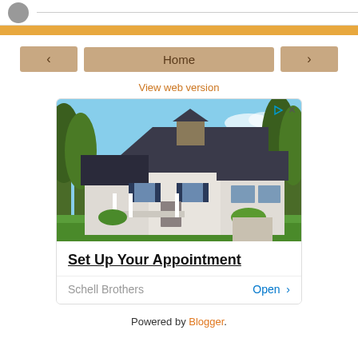[Figure (screenshot): Top partial section with avatar/profile icon and horizontal line]
Home
View web version
[Figure (photo): Advertisement image showing a large white house with dark roof surrounded by trees, with 'Set Up Your Appointment' headline, brand 'Schell Brothers' and 'Open >' call to action. Ad badge with play icon and X in top right corner.]
Powered by Blogger.